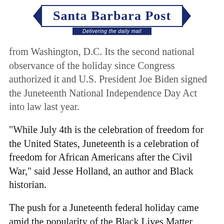Santa Barbara Post — Delivering the daily mail
from Washington, D.C. Its the second national observance of the holiday since Congress authorized it and U.S. President Joe Biden signed the Juneteenth National Independence Day Act into law last year.
"While July 4th is the celebration of freedom for the United States, Juneteenth is a celebration of freedom for African Americans after the Civil War," said Jesse Holland, an author and Black historian.
The push for a Juneteenth federal holiday came amid the popularity of the Black Lives Matter movement and a year after nationwide protests against racism and police brutality. It followed the murder of African-American George Floyd by a white Minneapolis police officer in 2020. Since